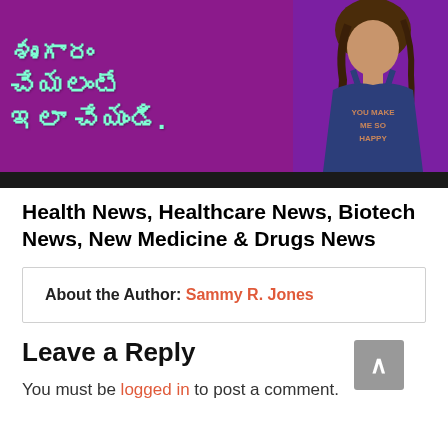[Figure (photo): A thumbnail/screenshot image with purple background showing Telugu text on the left side in cyan/mint color, and a woman in a blue tank top on the right side. The tank top shows 'YOU MAKE ME SO HAPPY' text. There is a black bar at the bottom of the image.]
Health News, Healthcare News, Biotech News, New Medicine & Drugs News
About the Author: Sammy R. Jones
Leave a Reply
You must be logged in to post a comment.